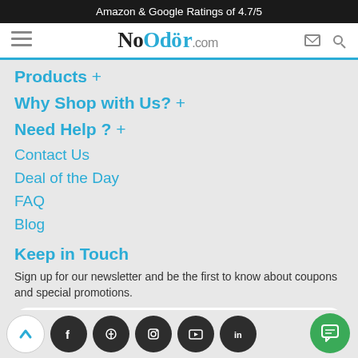Amazon & Google Ratings of 4.7/5
[Figure (logo): NoOdor.com website header with hamburger menu, NoOdor.com logo, cart and search icons]
Products  +
Why Shop with Us?  +
Need Help?  +
Contact Us
Deal of the Day
FAQ
Blog
Keep in Touch
Sign up for our newsletter and be the first to know about coupons and special promotions.
il@example.com
[Figure (infographic): Social media icons row: back-to-top button, Facebook, Pinterest, Instagram, YouTube, LinkedIn, and chat button]